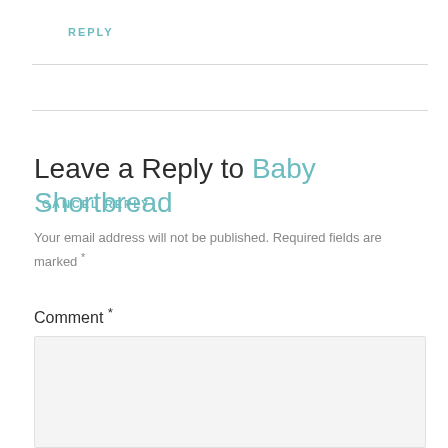REPLY
Leave a Reply to Baby Shortbread
CANCEL REPLY
Your email address will not be published. Required fields are marked *
Comment *